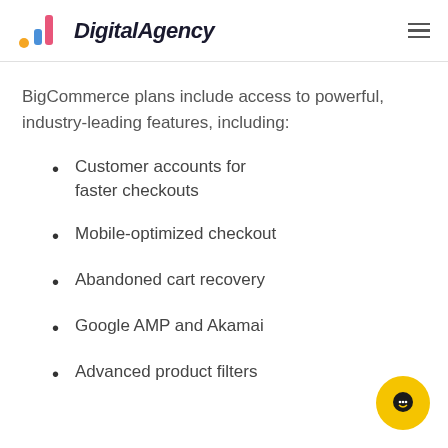DigitalAgency
BigCommerce plans include access to powerful, industry-leading features, including:
Customer accounts for faster checkouts
Mobile-optimized checkout
Abandoned cart recovery
Google AMP and Akamai
Advanced product filters